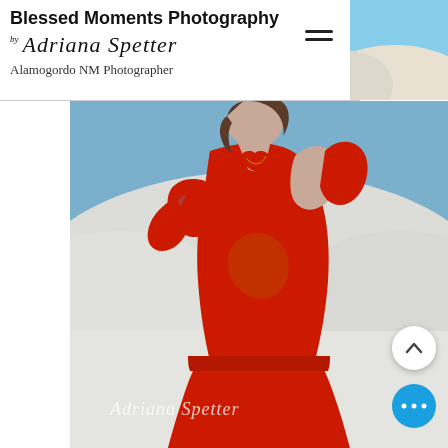Blessed Moments Photography
by Adriana Spetter
Alamogordo NM Photographer
[Figure (photo): Maternity photo of a pregnant woman wearing a red off-shoulder gown with ruffled sleeves, posing at White Sands National Park with white sand dunes and blue sky in the background. A watermark reading 'Adriana Spetter' appears at the bottom of the image.]